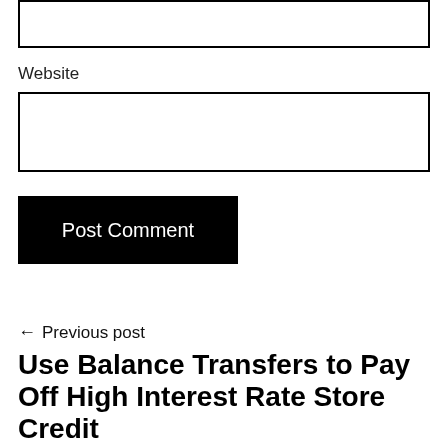[Figure (other): Input text field (top, partially visible)]
Website
[Figure (other): Input text field for website URL]
Post Comment
← Previous post
Use Balance Transfers to Pay Off High Interest Rate Store Credit